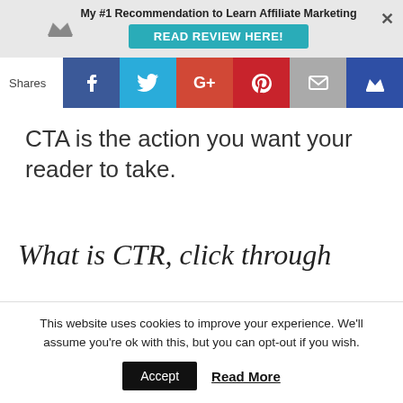My #1 Recommendation to Learn Affiliate Marketing — READ REVIEW HERE!
[Figure (infographic): Social share bar with Facebook, Twitter, Google+, Pinterest, Email, and Crown icons]
CTA is the action you want your reader to take.
What is CTR, click through
This website uses cookies to improve your experience. We'll assume you're ok with this, but you can opt-out if you wish.
Accept   Read More